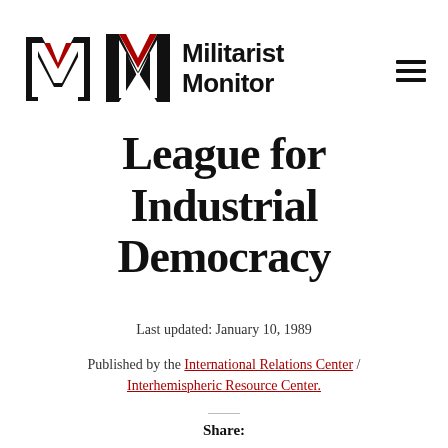Militarist Monitor
League for Industrial Democracy
Last updated: January 10, 1989
Published by the International Relations Center / Interhemispheric Resource Center.
Share: